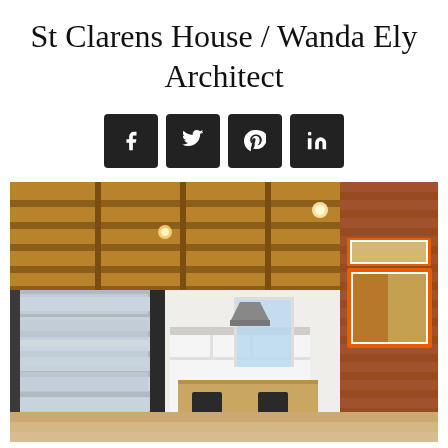St Clarens House / Wanda Ely Architect
[Figure (other): Social media share buttons: Facebook, Twitter, Pinterest, LinkedIn — dark square icons]
[Figure (photo): Interior photo of St Clarens House showing open-plan kitchen and dining area with exposed wood beam ceiling, modern floating staircase with glass balustrade, brick accent wall with orange-framed artwork, and light wood floors.]